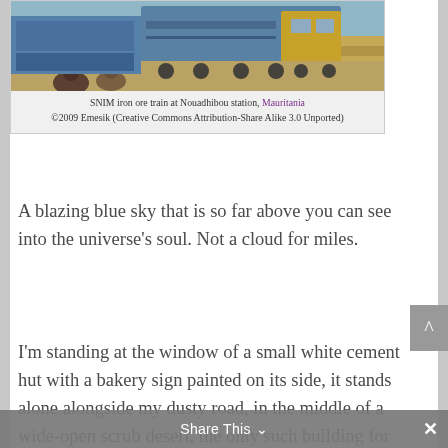[Figure (photo): SNIM iron ore train at Nouadhibou station, Mauritania — a blue locomotive with a yellow front cab on desert tracks, with sandy landscape and rocky embankment visible. Two people are seated in the foreground.]
SNIM iron ore train at Nouadhibou station, Mauritania
©2009 Emesik (Creative Commons Attribution-Share Alike 3.0 Unported)
A blazing blue sky that is so far above you can see into the universe's soul. Not a cloud for miles.
I'm standing at the window of a small white cement hut with a bakery sign painted on its side, it stands alone alongside my dusty road, in the middle of a wide-open scrub desert, the only such building for miles and miles. A gentle wind blows the heat across my face as I stand, arm